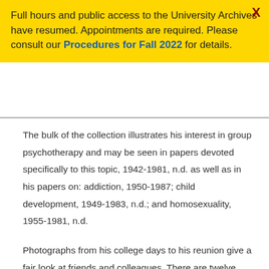Full hours and public access to the University Archives have resumed. Appointments are required. Please consult our Procedures for Fall 2022 for details.
The bulk of the collection illustrates his interest in group psychotherapy and may be seen in papers devoted specifically to this topic, 1942-1981, n.d. as well as in his papers on: addiction, 1950-1987; child development, 1949-1983, n.d.; and homosexuality, 1955-1981, n.d.
Photographs from his college days to his reunion give a fair look at friends and colleagues. There are twelve phonographic records produced by his Medical Dental Educational Recording Company devoted to various medical topics. Oversized certificates and a few books finish out the collection.